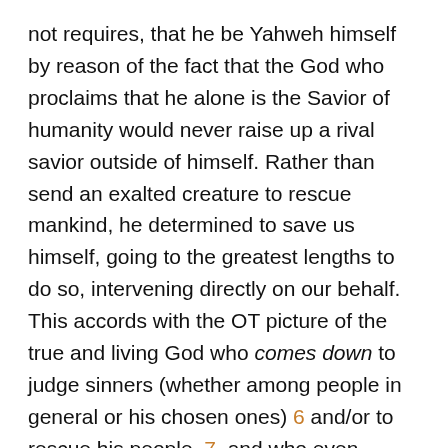not requires, that he be Yahweh himself by reason of the fact that the God who proclaims that he alone is the Savior of humanity would never raise up a rival savior outside of himself. Rather than send an exalted creature to rescue mankind, he determined to save us himself, going to the greatest lengths to do so, intervening directly on our behalf. This accords with the OT picture of the true and living God who comes down to judge sinners (whether among people in general or his chosen ones) 6 and/or to rescue his people, 7, and who even atones for their sins. 8 It also accords with the other OT Messianic names that connote divine ontology, namely: Lord, 9 Immanuel (Is. 7:14), Mighty God (Is. 9:6), and Yahweh our Righteousness ( Jer. 23:6). That Jesus saw himself